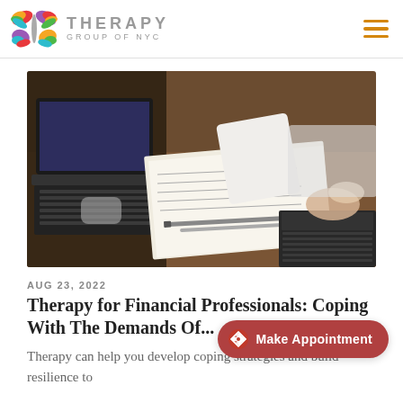THERAPY GROUP OF NYC
[Figure (photo): Two people at a desk with laptops, papers, and pens — a professional meeting scene viewed from above and slightly to the side]
AUG 23, 2022
Therapy for Financial Professionals: Coping With The Demands Of...
Therapy can help you develop coping strategies and build resilience to